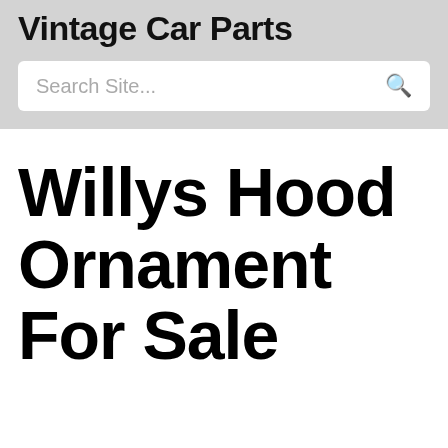Vintage Car Parts
Search Site...
Willys Hood Ornament For Sale